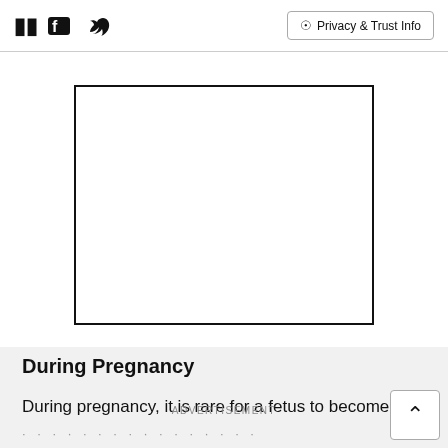Facebook Twitter Privacy & Trust Info
[Figure (other): A rectangular placeholder image outline with no content inside, representing an image area on a medical webpage.]
During Pregnancy
During pregnancy, it is rare for a fetus to become
ADVERTISEMENT